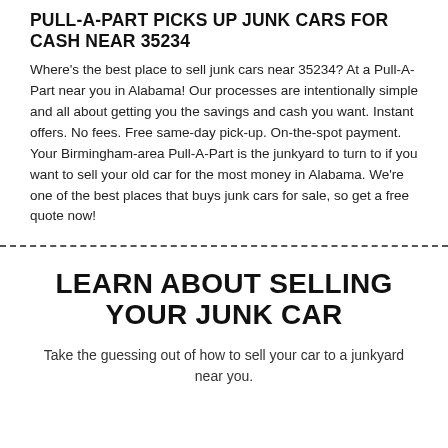PULL-A-PART PICKS UP JUNK CARS FOR CASH NEAR 35234
Where's the best place to sell junk cars near 35234? At a Pull-A-Part near you in Alabama! Our processes are intentionally simple and all about getting you the savings and cash you want. Instant offers. No fees. Free same-day pick-up. On-the-spot payment. Your Birmingham-area Pull-A-Part is the junkyard to turn to if you want to sell your old car for the most money in Alabama. We're one of the best places that buys junk cars for sale, so get a free quote now!
LEARN ABOUT SELLING YOUR JUNK CAR
Take the guessing out of how to sell your car to a junkyard near you.